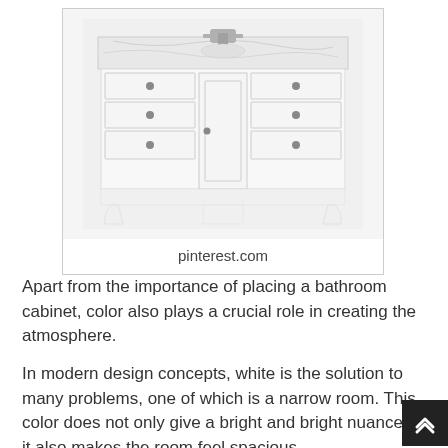[Figure (photo): A white bathroom vanity cabinet with marble top, center door, multiple drawers on each side, brushed nickel faucet and knobs, on curved legs]
pinterest.com
Apart from the importance of placing a bathroom cabinet, color also plays a crucial role in creating the atmosphere.
In modern design concepts, white is the solution to many problems, one of which is a narrow room. This color does not only give a bright and bright nuance but it also makes the room feel spacious.